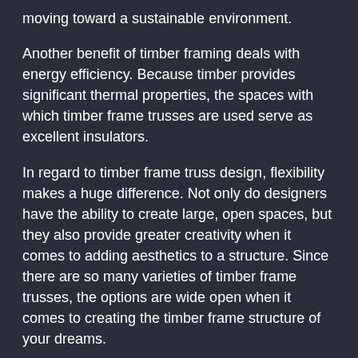moving toward a sustainable environment.
Another benefit of timber framing deals with energy efficiency. Because timber provides significant thermal properties, the spaces with which timber frame trusses are used serve as excellent insulators.
In regard to timber frame truss design, flexibility makes a huge difference. Not only do designers have the ability to create large, open spaces, but they also provide greater creativity when it comes to adding aesthetics to a structure. Since there are so many varieties of timber frame trusses, the options are wide open when it comes to creating the timber frame structure of your dreams.
Types of Timber Frame